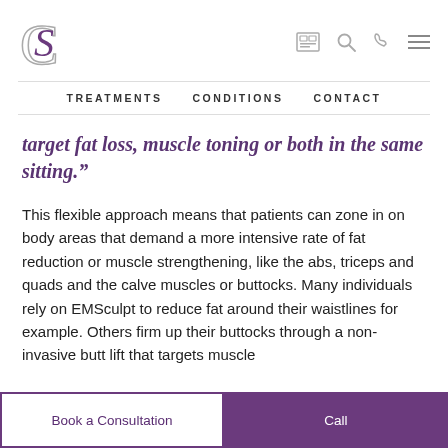CS logo and navigation: TREATMENTS, CONDITIONS, CONTACT
target fat loss, muscle toning or both in the same sitting.”
This flexible approach means that patients can zone in on body areas that demand a more intensive rate of fat reduction or muscle strengthening, like the abs, triceps and quads and the calve muscles or buttocks. Many individuals rely on EMSculpt to reduce fat around their waistlines for example. Others firm up their buttocks through a non-invasive butt lift that targets muscle
Book a Consultation   Call